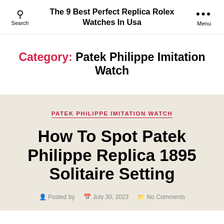The 9 Best Perfect Replica Rolex Watches In Usa
Category: Patek Philippe Imitation Watch
PATEK PHILIPPE IMITATION WATCH
How To Spot Patek Philippe Replica 1895 Solitaire Setting